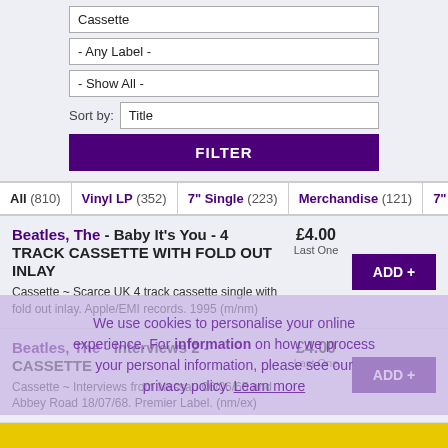Cassette
- Any Label -
- Show All -
Sort by: Title
FILTER
All (810)
Vinyl LP (352)
7" Single (223)
Merchandise (121)
7" EP (
Beatles, The - Baby It's You - 4 TRACK CASSETTE WITH FOLD OUT INLAY
£4.00
Last One
ADD +
Cassette ~ Scarce UK 4 track cassette single with fold out inlay. Apple/EMI records. 1995 (m/nm)
Beatles, The - Interviews 2 - CASSETTE
£4.00
Last One
ADD +
Cassette ~ Interviews from Nassau 06/06/65 and Abbey Road 18/07/68. Premier Label. (nm/ex)
Subscribe To These Results
Page : 1
Allow Cookies